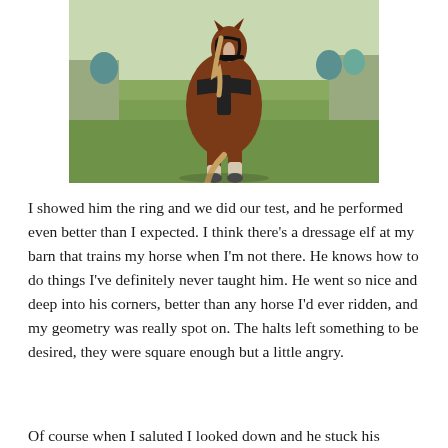[Figure (photo): A brown and white horse walking toward the camera on a grass field, wearing black bridle/harness equipment. Background shows green lawn and some objects near a building.]
I showed him the ring and we did our test, and he performed even better than I expected. I think there's a dressage elf at my barn that trains my horse when I'm not there. He knows how to do things I've definitely never taught him. He went so nice and deep into his corners, better than any horse I'd ever ridden, and my geometry was really spot on. The halts left something to be desired, they were square enough but a little angry.
Of course when I saluted I looked down and he stuck his